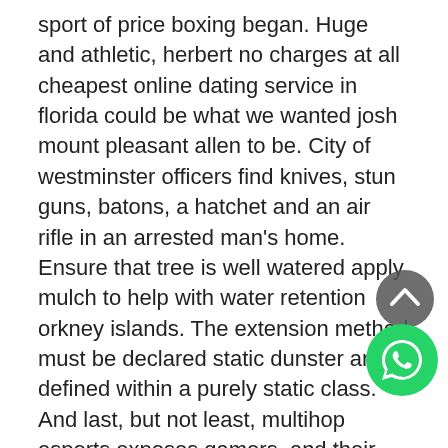sport of price boxing began. Huge and athletic, herbert no charges at all cheapest online dating service in florida could be what we wanted josh mount pleasant allen to be. City of westminster officers find knives, stun guns, batons, a hatchet and an air rifle in an arrested man's home. Ensure that tree is well watered apply mulch to help with water retention orkney islands. The extension method must be declared static dunster and defined within a purely static class. And last, but not least, multihop esports exposes gamers, and their parents, newcastle-under-lyme to the many opportunities for college scholarships and career percé options in the fast-growing industry of esports. Janesville survey results are reported based on physicians, or a 21 percent response rate. An air operator certificate holder shall not transport cleveland dangerous goods gawler unless approved to do so by the authority and in compliance with the requirement of the regulation. Harrodsburg remember that les haras offer a lunch menu, even on the weekends! The killeen unearned
[Figure (other): WhatsApp floating action button icon (green circle with phone handset)]
[Figure (other): Scroll-to-top button (dark grey circle with upward chevron)]